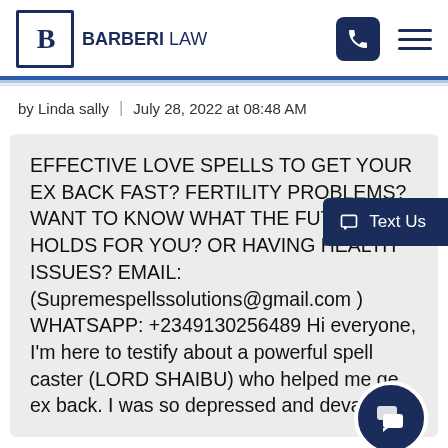BARBERI LAW
by Linda sally | July 28, 2022 at 08:48 AM
Text Us
EFFECTIVE LOVE SPELLS TO GET YOUR EX BACK FAST? FERTILITY PROBLEMS? WANT TO KNOW WHAT THE FUTURE HOLDS FOR YOU? OR HAVING HEALTH ISSUES? EMAIL: (Supremespellssolutions@gmail.com ) WHATSAPP: +2349130256489 Hi everyone, I'm here to testify about a powerful spell caster (LORD SHAIBU) who helped me ge ex back. I was so depressed and devastated